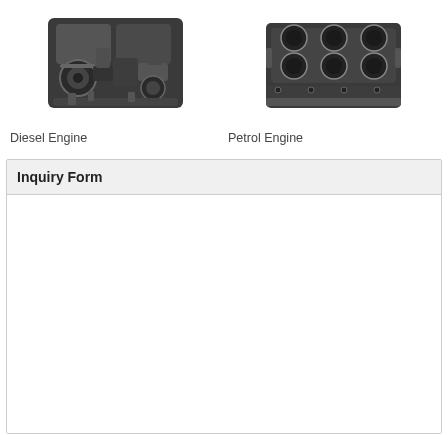[Figure (photo): Diesel engine component/assembly, dark metallic with complex mechanical parts]
Diesel Engine
[Figure (photo): Petrol engine block, dark metallic bare engine block with visible holes and mounting points]
Petrol Engine
Inquiry Form